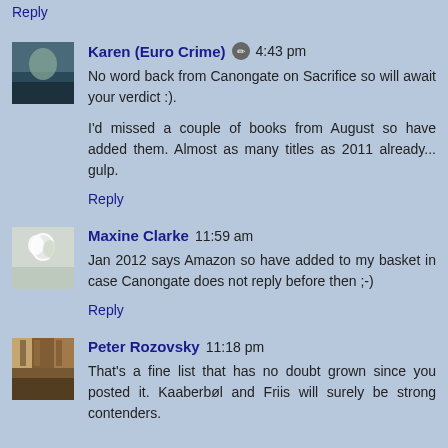Reply
Karen (Euro Crime) [edit icon] 4:43 pm

No word back from Canongate on Sacrifice so will await your verdict :).

I'd missed a couple of books from August so have added them. Almost as many titles as 2011 already... gulp.
Reply
Maxine Clarke 11:59 am

Jan 2012 says Amazon so have added to my basket in case Canongate does not reply before then ;-)
Reply
Peter Rozovsky 11:18 pm

That's a fine list that has no doubt grown since you posted it. Kaaberbøl and Friis will surely be strong contenders.